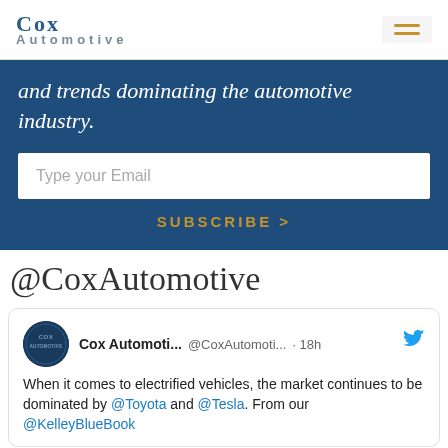Cox Automotive
and trends dominating the automotive industry.
Type your Email
SUBSCRIBE >
@CoxAutomotive
Cox Automoti... @CoxAutomoti... · 18h
When it comes to electrified vehicles, the market continues to be dominated by @Toyota and @Tesla. From our @KelleyBlueBook